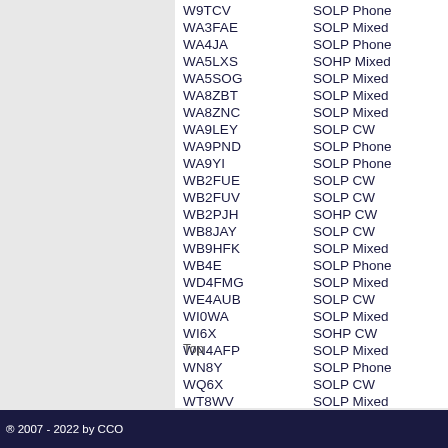W9TCV    SOLP Phone
WA3FAE   SOLP Mixed
WA4JA    SOLP Phone
WA5LXS   SOHP Mixed
WA5SOG   SOLP Mixed
WA8ZBT   SOLP Mixed
WA8ZNC   SOLP Mixed
WA9LEY   SOLP CW
WA9PND   SOLP Phone
WA9YI    SOLP Phone
WB2FUE   SOLP CW
WB2FUV   SOLP CW
WB2PJH   SOHP CW
WB8JAY   SOLP CW
WB9HFK   SOLP Mixed
WB4E     SOLP Phone
WD4FMG   SOLP Mixed
WE4AUB   SOLP CW
WI0WA    SOLP Mixed
WI6X     SOHP CW
WN4AFP   SOLP Mixed
WN8Y     SOLP Phone
WQ6X     SOLP CW
WT8WV    SOLP Mixed
WW5L     SOHP Phone
WZ6ZZ    SOLP Phone
Top
® 2007 - 2022 by CCO